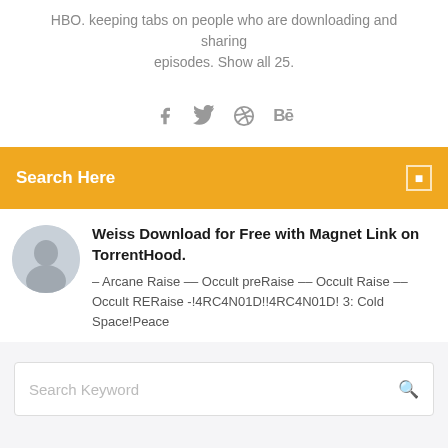HBO. keeping tabs on people who are downloading and sharing episodes. Show all 25.
[Figure (other): Social media icons: Facebook, Twitter, Dribbble, Behance]
Search Here
Weiss Download for Free with Magnet Link on TorrentHood.
– Arcane Raise –– Occult preRaise –– Occult Raise –– Occult RERaise -!4RC4N01D!!4RC4N01D! 3: Cold Space!Peace
Search Keyword